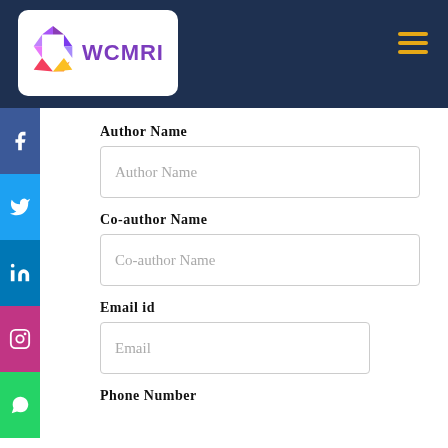[Figure (logo): WCMRI logo with colorful hexagon icon and purple WCMRI text in a white rounded rectangle, on dark navy navigation bar]
Author Name
Author Name (placeholder)
Co-author Name
Co-author Name (placeholder)
Email id
Email (placeholder)
Phone Number